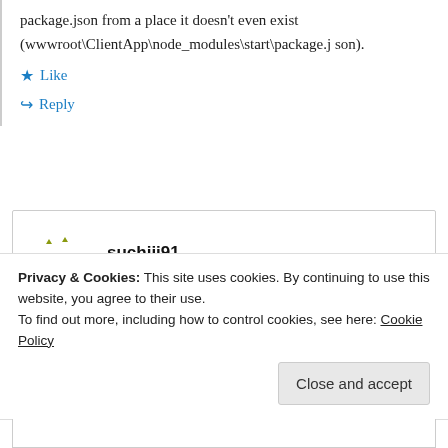package.json from a place it doesn't even exist (wwwroot\ClientApp\node_modules\start\package.json).
Like
Reply
suchiii91
July 15, 2019 at 4:24 pm
Privacy & Cookies: This site uses cookies. By continuing to use this website, you agree to their use.
To find out more, including how to control cookies, see here: Cookie Policy
Close and accept